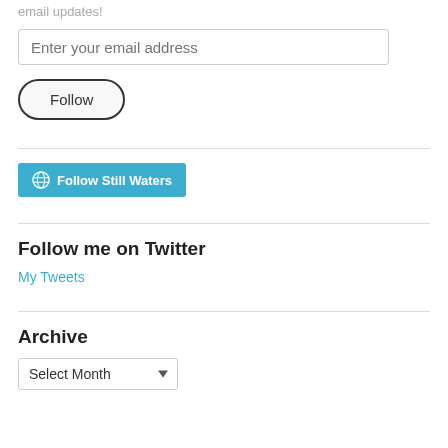email updates!
[Figure (screenshot): Email input field with placeholder 'Enter your email address']
[Figure (screenshot): Follow button with pill/oval border shape]
[Figure (screenshot): Blue WordPress Follow Still Waters button]
Follow me on Twitter
My Tweets
Archive
[Figure (screenshot): Select Month dropdown]